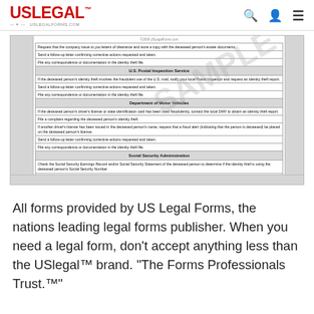USLegal™ uslegalforms.com
[Figure (screenshot): Scanned legal form document showing a checklist table with sections for U.S. Postal Inspection Service, Department of Motor Vehicles, Social Security Administration, and U.S. Department of State Passport Services, with a SAMPLE watermark overlay.]
All forms provided by US Legal Forms, the nations leading legal forms publisher. When you need a legal form, don't accept anything less than the USlegal™ brand. "The Forms Professionals Trust™"